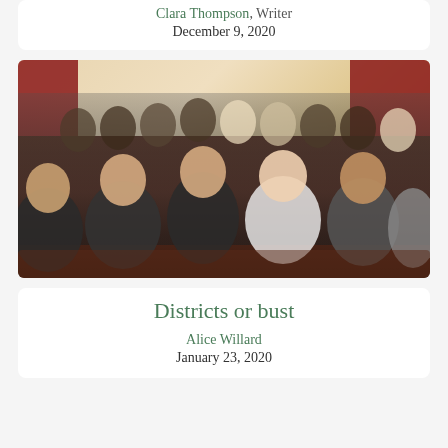Clara Thompson, Writer
December 9, 2020
[Figure (photo): Group of students in formal attire seated in an auditorium with dark red/brown seats, appearing to be at a Model UN or similar academic competition event.]
Districts or bust
Alice Willard
January 23, 2020